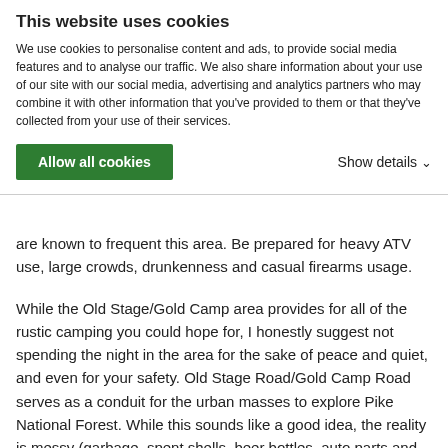This website uses cookies
We use cookies to personalise content and ads, to provide social media features and to analyse our traffic. We also share information about your use of our site with our social media, advertising and analytics partners who may combine it with other information that you've provided to them or that they've collected from your use of their services.
Allow all cookies   Show details ∨
are known to frequent this area. Be prepared for heavy ATV use, large crowds, drunkenness and casual firearms usage.
While the Old Stage/Gold Camp area provides for all of the rustic camping you could hope for, I honestly suggest not spending the night in the area for the sake of peace and quiet, and even for your safety. Old Stage Road/Gold Camp Road serves as a conduit for the urban masses to explore Pike National Forest. While this sounds like a good idea, the reality is messy (garbage, spent shells, beer bottles, auto parts and busted clay pigeons) and sometimes grim. I am ashamed to even print this, but this